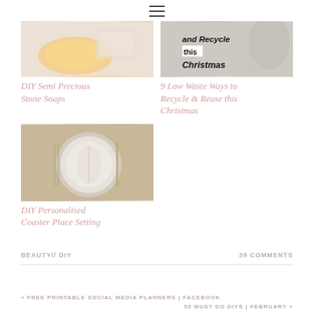[Figure (photo): Hamburger/menu icon (three horizontal lines) centered at top of page]
[Figure (photo): Photo of DIY Semi Precious Stone Soaps - warm peachy/gold tones with soap shapes]
DIY Semi Precious Stone Soaps
[Figure (photo): Photo related to 9 Low Waste Ways to Recycle & Reuse this Christmas, with text overlay showing 'and Recycle this Christmas']
9 Low Waste Ways to Recycle & Reuse this Christmas
[Figure (photo): Photo of DIY Personalised Coaster Place Setting - gold and white table setting with decorative plate]
DIY Personalised Coaster Place Setting
BEAUTY // DIY
39 COMMENTS
« FREE PRINTABLE SOCIAL MEDIA PLANNERS | FACEBOOK
50 MUST DO DIYS | FEBRUARY »